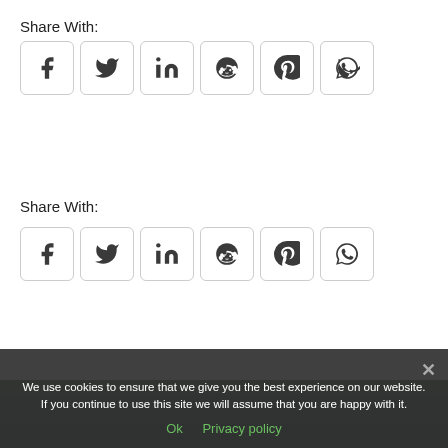Share With:
[Figure (infographic): Row of 6 social media share icon buttons: Facebook, Twitter, LinkedIn, Reddit, Pinterest, WhatsApp]
Share With:
[Figure (infographic): Row of 6 social media share icon buttons: Facebook, Twitter, LinkedIn, Reddit, Pinterest, WhatsApp]
Veganism in Slovakia
We use cookies to ensure that we give you the best experience on our website. If you continue to use this site we will assume that you are happy with it.
Ok   Privacy policy